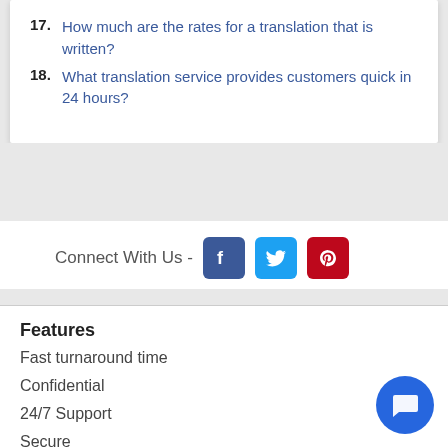17. How much are the rates for a translation that is written?
18. What translation service provides customers quick in 24 hours?
Connect With Us -
Features
Fast turnaround time
Confidential
24/7 Support
Secure